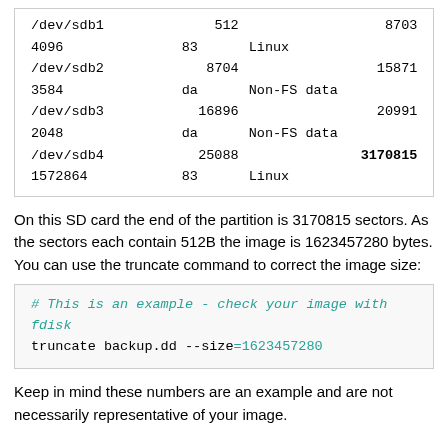| /dev/sdb1 | 512 | 8703 |
| 4096 | 83 | Linux |  |  |
| /dev/sdb2 | 8704 | 15871 |
| 3584 | da | Non-FS data |  |  |
| /dev/sdb3 | 16896 | 20991 |
| 2048 | da | Non-FS data |  |  |
| /dev/sdb4 | 25088 | 3170815 |
| 1572864 | 83 | Linux |  |  |
On this SD card the end of the partition is 3170815 sectors. As the sectors each contain 512B the image is 1623457280 bytes. You can use the truncate command to correct the image size:
[Figure (screenshot): Code block showing: # This is an example - check your image with fdisk (comment in teal italic); truncate backup.dd --size=1623457280 (with =1623457280 in teal)]
Keep in mind these numbers are an example and are not necessarily representative of your image.